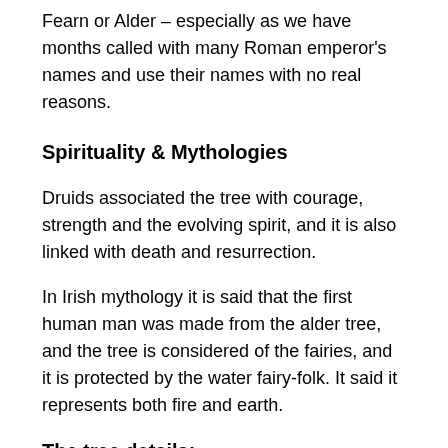Fearn or Alder – especially as we have months called with many Roman emperor's names and use their names with no real reasons.
Spirituality & Mythologies
Druids associated the tree with courage, strength and the evolving spirit, and it is also linked with death and resurrection.
In Irish mythology it is said that the first human man was made from the alder tree, and the tree is considered of the fairies, and it is protected by the water fairy-folk. It said it represents both fire and earth.
The tree details:
The Fearn or Alder tree is rather special because of it has the ability to...